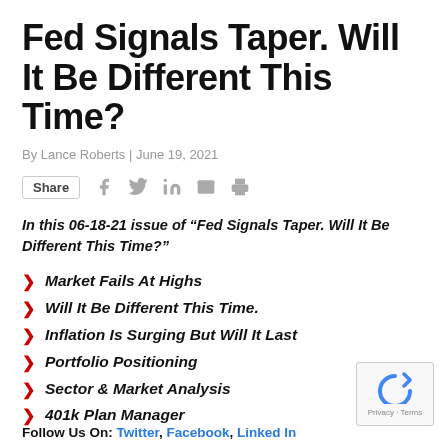Fed Signals Taper. Will It Be Different This Time?
By Lance Roberts | June 19, 2021
Share [social icons: Facebook, Twitter, LinkedIn, Email, Print]
In this 06-18-21 issue of “Fed Signals Taper. Will It Be Different This Time?”
Market Fails At Highs
Will It Be Different This Time.
Inflation Is Surging But Will It Last
Portfolio Positioning
Sector & Market Analysis
401k Plan Manager
Follow Us On: Twitter, Facebook, Linked In